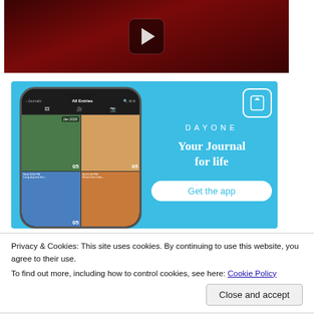[Figure (screenshot): Dark red concert video thumbnail with YouTube play button icon]
[Figure (screenshot): Day One app advertisement on blue background showing smartphone with photo journal app, logo, tagline 'Your Journal for life' and 'Get the app' button]
Privacy & Cookies: This site uses cookies. By continuing to use this website, you agree to their use.
To find out more, including how to control cookies, see here: Cookie Policy
Close and accept
I've seen Big Sean perform multiple times now, and he has